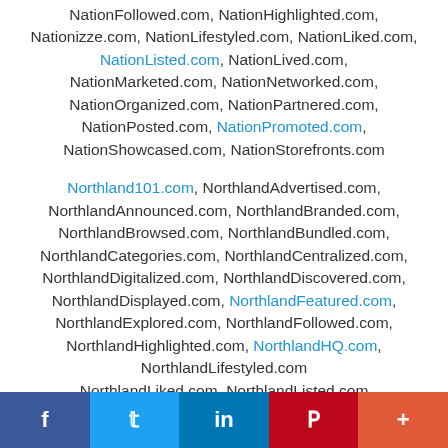NationFollowed.com, NationHighlighted.com, Nationizze.com, NationLifestyled.com, NationLiked.com, NationListed.com, NationLived.com, NationMarketed.com, NationNetworked.com, NationOrganized.com, NationPartnered.com, NationPosted.com, NationPromoted.com, NationShowcased.com, NationStorefronts.com
Northland101.com, NorthlandAdvertised.com, NorthlandAnnounced.com, NorthlandBranded.com, NorthlandBrowsed.com, NorthlandBundled.com, NorthlandCategories.com, NorthlandCentralized.com, NorthlandDigitalized.com, NorthlandDiscovered.com, NorthlandDisplayed.com, NorthlandFeatured.com, NorthlandExplored.com, NorthlandFollowed.com, NorthlandHighlighted.com, NorthlandHQ.com, NorthlandLifestyled.com, NorthlandLiked.com, NorthlandListed.com
f  t  in  P  +